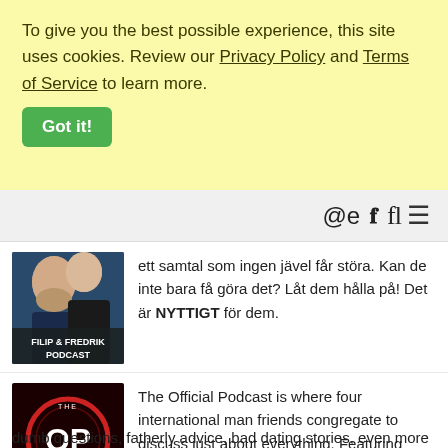To give you the best possible experience, this site uses cookies. Review our Privacy Policy and Terms of Service to learn more.
Got it!
[Figure (screenshot): Navigation bar with search and menu icons]
[Figure (photo): Filip & Fredrik Podcast logo thumbnail - two men posing together, text reads FILIP & FREDRIK PODCAST]
ett samtal som ingen jävel får störa. Kan de inte bara få göra det? Låt dem hålla på! Det är NYTTIGT för dem.
[Figure (logo): The Official Podcast (OP) logo - dark background with red circle and white OP text]
The Official Podcast is where four international man friends congregate to discuss just about everything. Featuring dumb questions, YouTube celebrities, childish giggling, burger puns, more dumb questions, fatherly advice, bad dating stories, even more